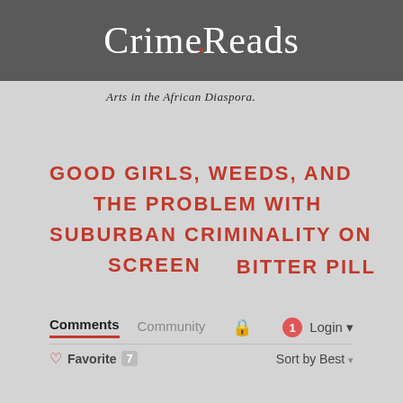CrimeReads
Arts in the African Diaspora.
GOOD GIRLS, WEEDS, AND THE PROBLEM WITH SUBURBAN CRIMINALITY ON SCREEN
BITTER PILL
Comments  Community  Login
Favorite  7  Sort by Best